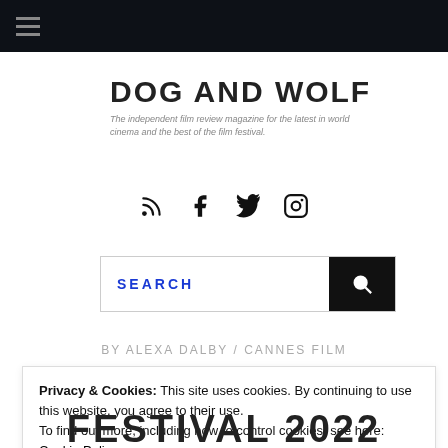hamburger menu navigation
DOG AND WOLF
The independent film review magazine for the latest in world cinema and the best of the film festival.
[Figure (infographic): Social media icons: RSS feed, Facebook, Twitter, Instagram]
[Figure (infographic): Search bar with SEARCH placeholder text and magnifying glass button]
BY ALEXA DALBY / CANNES FILM
Privacy & Cookies: This site uses cookies. By continuing to use this website, you agree to their use.
To find out more, including how to control cookies, see here: Cookie Policy
Close and accept
FESTIVAL 2022